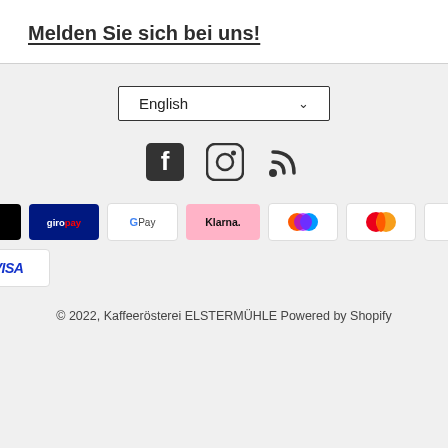Melden Sie sich bei uns!
[Figure (other): Language selector dropdown showing 'English' with chevron]
[Figure (other): Social media icons: Facebook, Instagram, RSS feed]
[Figure (other): Payment method logos: American Express, Apple Pay, Giropay, Google Pay, Klarna, Shop Pay (two circles), Mastercard, PayPal, Shop Pay, Sofort, Visa]
© 2022, Kaffeerösterei ELSTERMÜHLE Powered by Shopify